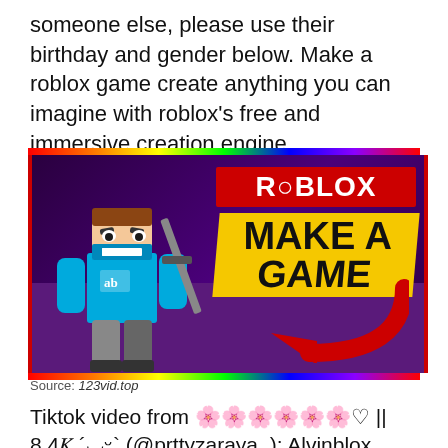someone else, please use their birthday and gender below. Make a roblox game create anything you can imagine with roblox's free and immersive creation engine.
[Figure (screenshot): Roblox 'Make a Game' promotional thumbnail image with a Roblox character holding a sword, rainbow border, red Roblox logo, yellow 'MAKE A GAME' banner, and a red arrow on a purple tiled floor background.]
Source: 123vid.top
Tiktok video from 🌸🌸🌸🌸🌸🌸♡ || 8.4𝐾 ´◡ᵕ` (@prttyzaraya_): Alvinblox shows you how to